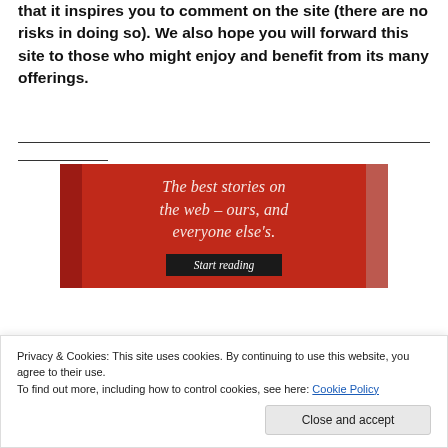that it inspires you to comment on the site (there are no risks in doing so). We also hope you will forward this site to those who might enjoy and benefit from its many offerings.
[Figure (other): Red advertisement banner with white serif italic text reading 'The best stories on the web – ours, and everyone else's.' and a dark 'Start reading' button.]
Privacy & Cookies: This site uses cookies. By continuing to use this website, you agree to their use.
To find out more, including how to control cookies, see here: Cookie Policy
Close and accept